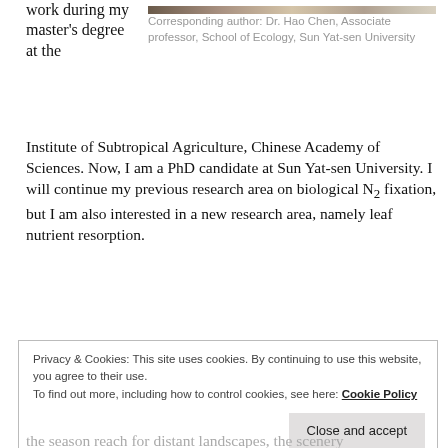[Figure (photo): Partial image strip at top right showing a nature/landscape photo]
work during my master’s degree at the
Corresponding author: Dr. Hao Chen, Associate professor, School of Ecology, Sun Yat-sen University
Institute of Subtropical Agriculture, Chinese Academy of Sciences. Now, I am a PhD candidate at Sun Yat-sen University. I will continue my previous research area on biological N₂ fixation, but I am also interested in a new research area, namely leaf nutrient resorption.
Privacy & Cookies: This site uses cookies. By continuing to use this website, you agree to their use.
To find out more, including how to control cookies, see here: Cookie Policy
Close and accept
the season reach for distant landscapes, the scenery